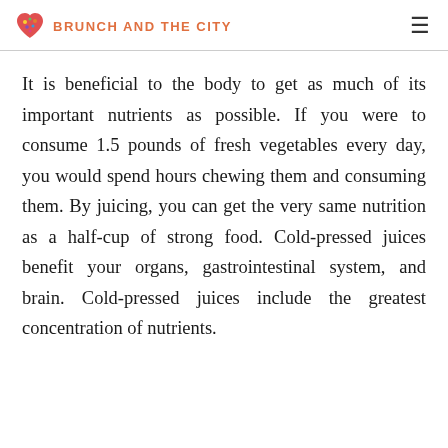BRUNCH AND THE CITY
It is beneficial to the body to get as much of its important nutrients as possible. If you were to consume 1.5 pounds of fresh vegetables every day, you would spend hours chewing them and consuming them. By juicing, you can get the very same nutrition as a half-cup of strong food. Cold-pressed juices benefit your organs, gastrointestinal system, and brain. Cold-pressed juices include the greatest concentration of nutrients.